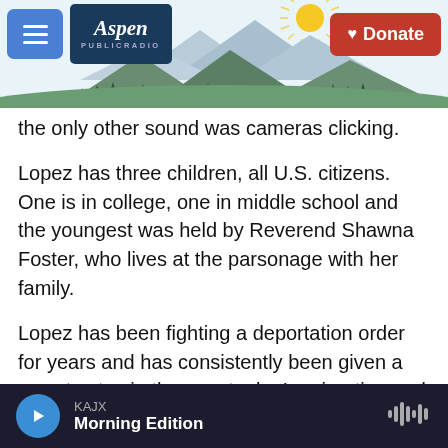Aspen Public Radio — Navigation bar with Donate button
[Figure (illustration): Mountain and tree landscape illustration with sun rays, used as website header decoration]
the only other sound was cameras clicking.
Lopez has three children, all U.S. citizens. One is in college, one in middle school and the youngest was held by Reverend Shawna Foster, who lives at the parsonage with her family.
Lopez has been fighting a deportation order for years and has consistently been given a pass to stay in the country by Immigration and Customs Enforcement (ICE). On Oct. 19, though, she was told no more passes. Lopez's attorney, Jennifer Smith, said she called ICE, who reportedly told her,
KAJX Morning Edition